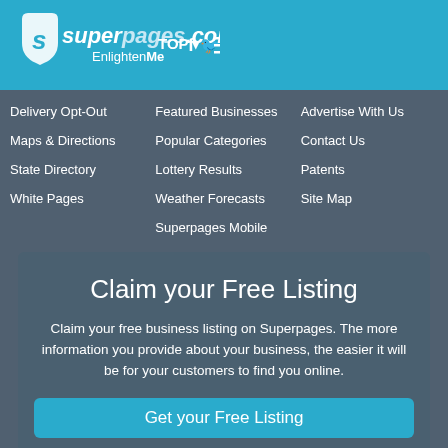[Figure (logo): Superpages.com EnlightenMe logo with shield icon and navigation bar with TOP, Facebook, Twitter, hamburger menu icons]
Delivery Opt-Out
Maps & Directions
State Directory
White Pages
Featured Businesses
Popular Categories
Lottery Results
Weather Forecasts
Superpages Mobile
Advertise With Us
Contact Us
Patents
Site Map
Claim your Free Listing
Claim your free business listing on Superpages. The more information you provide about your business, the easier it will be for your customers to find you online.
Get your Free Listing